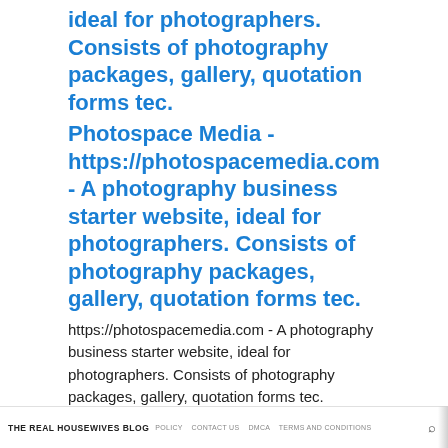ideal for photographers. Consists of photography packages, gallery, quotation forms tec.
Photospace Media - https://photospacemedia.com - A photography business starter website, ideal for photographers. Consists of photography packages, gallery, quotation forms tec.
https://photospacemedia.com - A photography business starter website, ideal for photographers. Consists of photography packages, gallery, quotation forms tec.
Prix : 450€
Cette annonce a été publiée sur : flippa.com
THE REAL HOUSEWIVES BLOG  POLICY  CONTACT US  DMCA  TERMS AND CONDITIONS